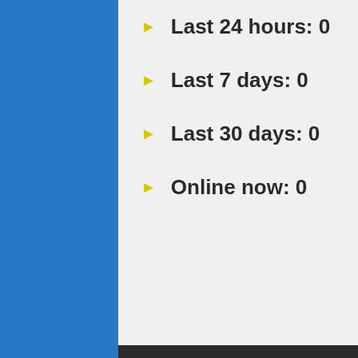Last 24 hours: 0
Last 7 days: 0
Last 30 days: 0
Online now: 0
Home
FAQ
Spiritual Theory Course
Our Book